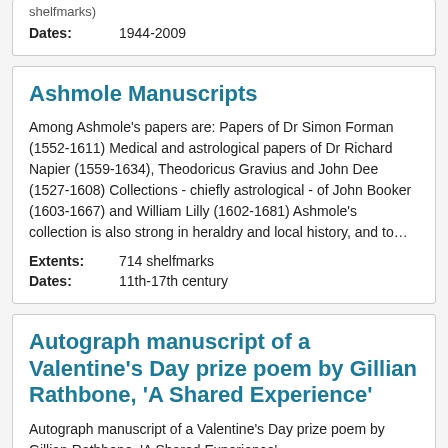shelfmarks)
Dates: 1944-2009
Ashmole Manuscripts
Among Ashmole's papers are: Papers of Dr Simon Forman (1552-1611) Medical and astrological papers of Dr Richard Napier (1559-1634), Theodoricus Gravius and John Dee (1527-1608) Collections - chiefly astrological - of John Booker (1603-1667) and William Lilly (1602-1681) Ashmole's collection is also strong in heraldry and local history, and to…
Extents: 714 shelfmarks
Dates: 11th-17th century
Autograph manuscript of a Valentine's Day prize poem by Gillian Rathbone, 'A Shared Experience'
Autograph manuscript of a Valentine's Day prize poem by Gillian Rathbone, 'A Shared Experience'